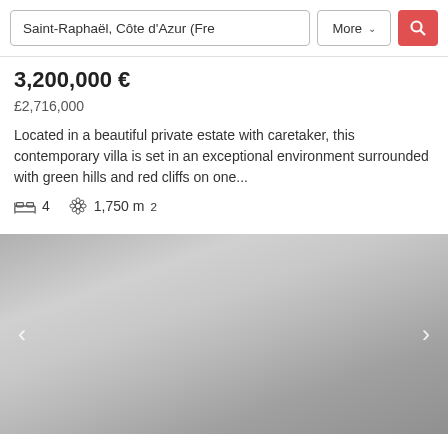Saint-Raphaël, Côte d'Azur (Fre | More ▾ [search]
3,200,000 €
£2,716,000
Located in a beautiful private estate with caretaker, this contemporary villa is set in an exceptional environment surrounded with green hills and red cliffs on one...
🛏 4   🌸 1,750 m²
[Figure (photo): Exterior photo of a contemporary villa, shown as a gray/blurred image with left and right navigation arrows]